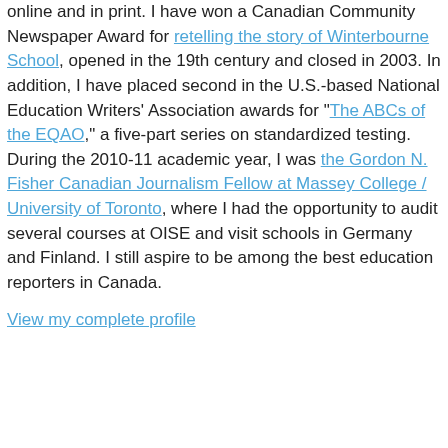online and in print. I have won a Canadian Community Newspaper Award for retelling the story of Winterbourne School, opened in the 19th century and closed in 2003. In addition, I have placed second in the U.S.-based National Education Writers' Association awards for "The ABCs of the EQAO," a five-part series on standardized testing. During the 2010-11 academic year, I was the Gordon N. Fisher Canadian Journalism Fellow at Massey College / University of Toronto, where I had the opportunity to audit several courses at OISE and visit schools in Germany and Finland. I still aspire to be among the best education reporters in Canada.
View my complete profile